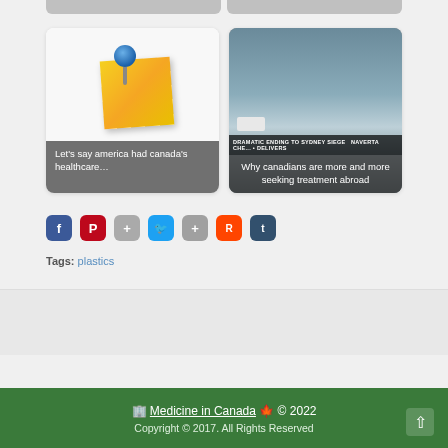[Figure (photo): Sticky note with push pin icon thumbnail]
Let’s say america had canada’s healthcare…
[Figure (photo): Police scene / emergency vehicles photo with overlay text]
Why canadians are more and more seeking treatment abroad
[Figure (other): Social share buttons: Facebook, Pinterest, Google+, Twitter, Share, Reddit, Tumblr]
Tags: plastics
Medicine in Canada © 2022
Copyright © 2017. All Rights Reserved